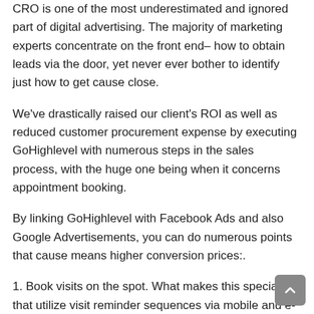CRO is one of the most underestimated and ignored part of digital advertising. The majority of marketing experts concentrate on the front end– how to obtain leads via the door, yet never ever bother to identify just how to get cause close.
We've drastically raised our client's ROI as well as reduced customer procurement expense by executing GoHighlevel with numerous steps in the sales process, with the huge one being when it concerns appointment booking.
By linking GoHighlevel with Facebook Ads and also Google Advertisements, you can do numerous points that cause means higher conversion prices:.
1. Book visits on the spot. What makes this special is that utilize visit reminder sequences via mobile and e-mail. When a